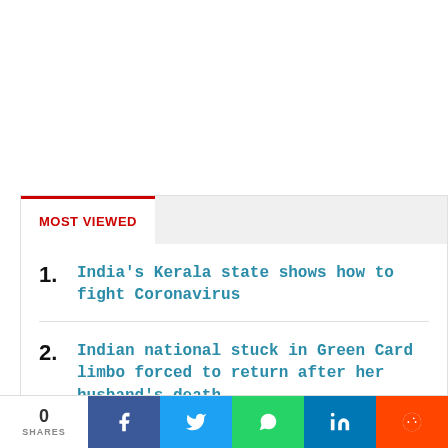MOST VIEWED
1. India's Kerala state shows how to fight Coronavirus
2. Indian national stuck in Green Card limbo forced to return after her husband's death